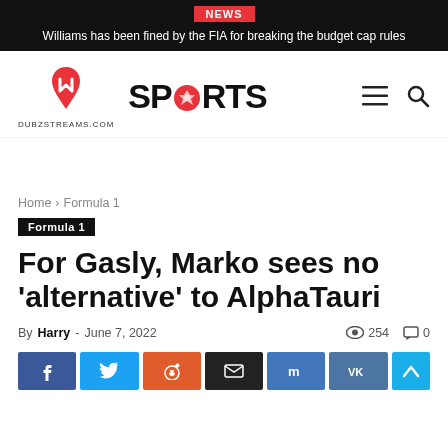NEWS — Williams has been fined by the FIA for breaking the budget cap rules
[Figure (logo): Dubzstreams.com Sports logo with red stylized icon and SPORTS text with soccer ball replacing O]
Home › Formula 1
Formula 1
For Gasly, Marko sees no 'alternative' to AlphaTauri
By Harry - June 7, 2022  254  0
[Figure (other): Social share buttons: Facebook, Twitter, Reddit, Email, Mix, VK, and back-to-top button]